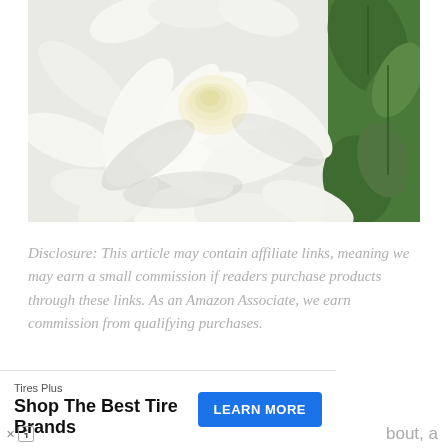[Figure (photo): Close-up photograph of a large white dahlia flower in full bloom with soft white petals arranged in a spiral pattern. Green leaves are visible on the right side.]
Disclosure: This article may contain affiliate links, meaning we may earn a small commission if readers purchase products through these links. As an Amazon Associate, we earn commission from qualifying purchases.
bout, a